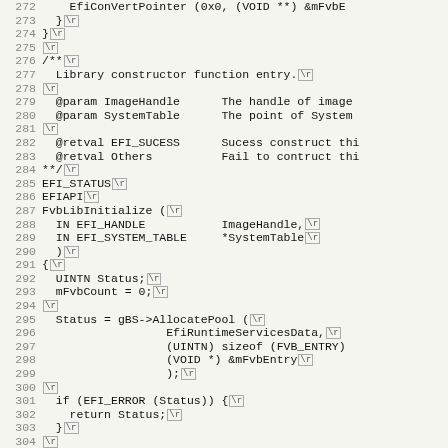[Figure (screenshot): Source code listing showing lines 272-303 of a C/EFI library file, with line numbers on the left and code content including comments, function signatures, and body. Each line ends with a \r carriage return marker shown as a small box.]